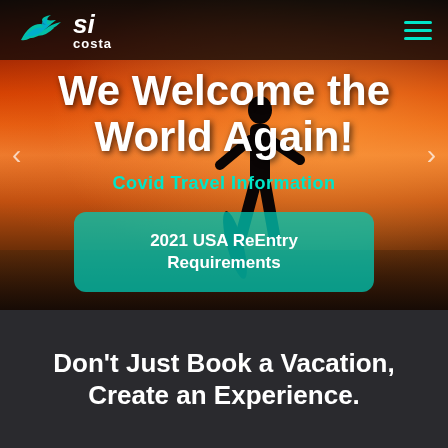[Figure (screenshot): Travel website screenshot showing a hero section with a sunset beach silhouette background, navigation bar with Si Costa logo, headline text, Covid Travel Information subtitle, a CTA button for 2021 USA ReEntry Requirements, and a bottom section with tagline.]
Si costa
We Welcome the World Again!
Covid Travel Information
2021 USA ReEntry Requirements
Don't Just Book a Vacation, Create an Experience.